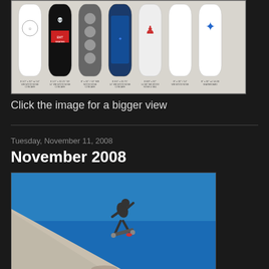[Figure (photo): Skateboard decks product image showing multiple deck designs with various graphics including skull, figure, circles, blue abstract, and other designs, with size/spec text below each deck]
Click the image for a bigger view
Tuesday, November 11, 2008
November 2008
[Figure (photo): Skateboarder performing a trick on a ramp against a bright blue sky, photographed from below looking up]